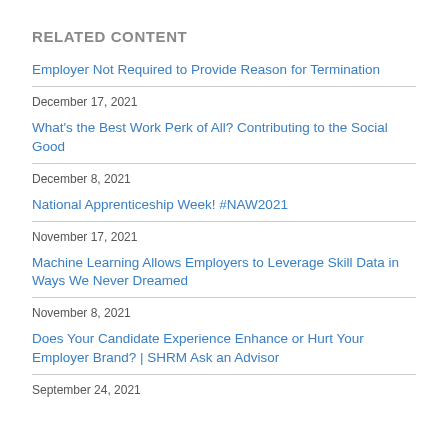RELATED CONTENT
Employer Not Required to Provide Reason for Termination
December 17, 2021
What's the Best Work Perk of All? Contributing to the Social Good
December 8, 2021
National Apprenticeship Week! #NAW2021
November 17, 2021
Machine Learning Allows Employers to Leverage Skill Data in Ways We Never Dreamed
November 8, 2021
Does Your Candidate Experience Enhance or Hurt Your Employer Brand? | SHRM Ask an Advisor
September 24, 2021